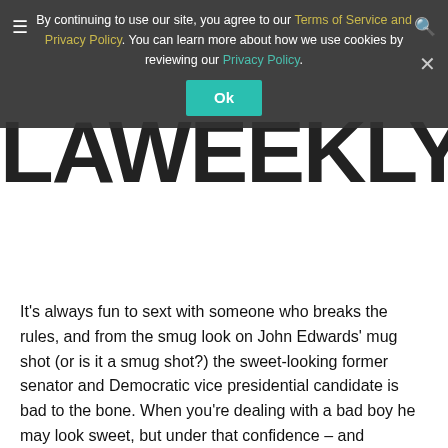[Figure (screenshot): Cookie consent banner overlay on LA Weekly website with hamburger menu icon on left, search icon on right, teal Ok button, and close X button. Text reads: By continuing to use our site, you agree to our Terms of Service and Privacy Policy. You can learn more about how we use cookies by reviewing our Privacy Policy.]
[Figure (logo): LA Weekly logo in large bold black text on white background]
It's always fun to sext with someone who breaks the rules, and from the smug look on John Edwards' mug shot (or is it a smug shot?) the sweet-looking former senator and Democratic vice presidential candidate is bad to the bone. When you're dealing with a bad boy he may look sweet, but under that confidence – and indifference – lies the challenge.
Bad boys are fueled by testosterone, which makes them exciting and adventurous. You can guarantee that Edwards' sexts would